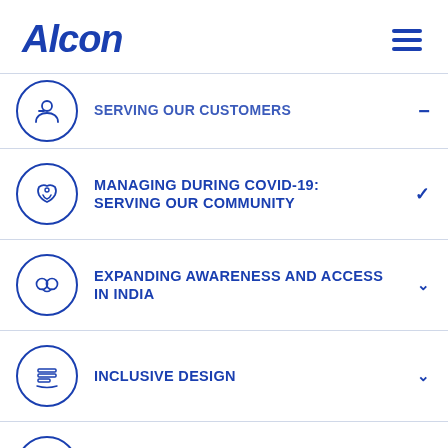Alcon
SERVING OUR CUSTOMERS
MANAGING DURING COVID-19: SERVING OUR COMMUNITY
EXPANDING AWARENESS AND ACCESS IN INDIA
INCLUSIVE DESIGN
ASSOCIATE WELLBEING AT ALCON